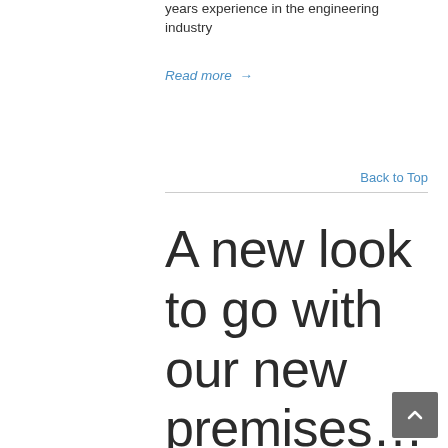years experience in the engineering industry
Read more →
Back to Top
A new look to go with our new premises... and we'd like YOU to help us decide – with the chance to win 6 bottles of fine wine!